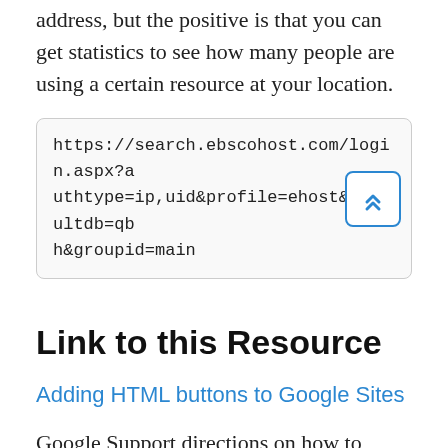Direct links will only work on a specific IP address, but the positive is that you can get statistics to see how many people are using a certain resource at your location.
https://search.ebscohost.com/login.aspx?authtype=ip,uid&profile=ehost&defaultdb=qbh&groupid=main
Link to this Resource
Adding HTML buttons to Google Sites
Google Support directions on how to insert